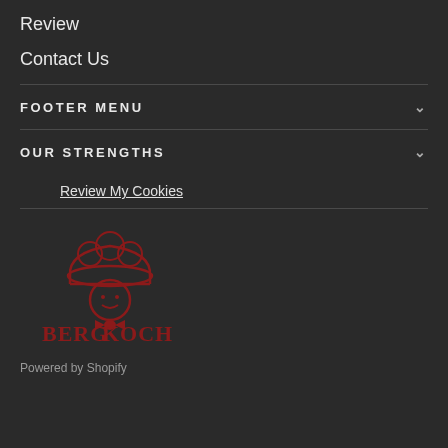Review
Contact Us
FOOTER MENU
OUR STRENGTHS
Review My Cookies
[Figure (logo): BergKoch chef logo with red chef hat and bow tie illustration, text BERGKOCH below]
Powered by Shopify